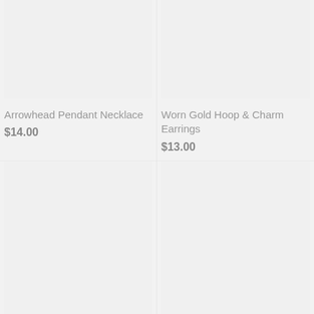[Figure (photo): Product image placeholder for Arrowhead Pendant Necklace, light gray background]
Arrowhead Pendant Necklace
$14.00
[Figure (photo): Product image placeholder for Worn Gold Hoop & Charm Earrings, light gray background]
Worn Gold Hoop & Charm Earrings
$13.00
[Figure (photo): Product image placeholder bottom left, light gray background]
[Figure (photo): Product image placeholder bottom right, light gray background]